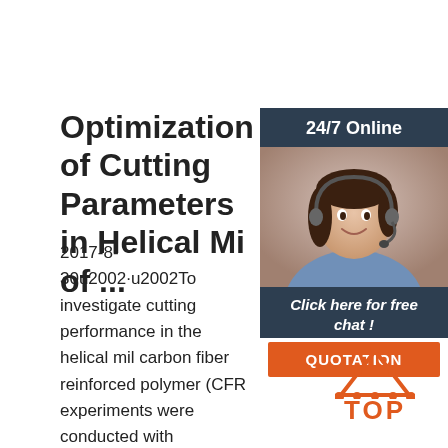Optimization of Cutting Parameters in Helical Mi of ...
[Figure (photo): Customer service representative / online chat agent with headset, smiling. Overlay panel with '24/7 Online' header, chat prompt 'Click here for free chat!', and orange QUOTATION button.]
2017-8-30u2002·u2002To investigate cutting performance in the helical mil carbon fiber reinforced polymer (CFR experiments were conducted with unidirectional laminates. The results that the influence of cutting paramete very significant in the helical milling process. The axial force increases with the increase of cutting speed, which is below 95 m/min; otherwise, the axial force decreases ...
[Figure (logo): TOP icon — orange triangle with dots above the letters TOP in orange bold text]